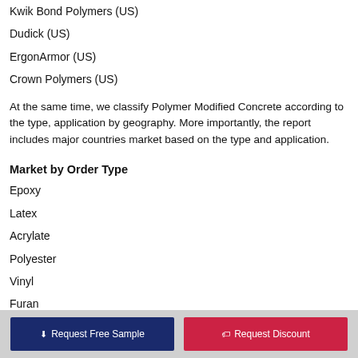Kwik Bond Polymers (US)
Dudick (US)
ErgonArmor (US)
Crown Polymers (US)
At the same time, we classify Polymer Modified Concrete according to the type, application by geography. More importantly, the report includes major countries market based on the type and application.
Market by Order Type
Epoxy
Latex
Acrylate
Polyester
Vinyl
Furan
Others
Request Free Sample | Request Discount